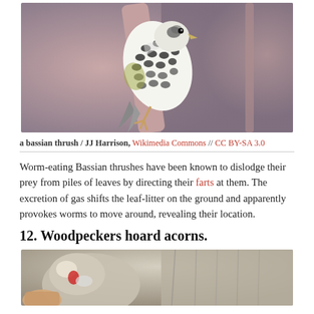[Figure (photo): Close-up photograph of a bassian thrush perched on a branch, showing black and white patterned feathers]
a bassian thrush / JJ Harrison, Wikimedia Commons // CC BY-SA 3.0
Worm-eating Bassian thrushes have been known to dislodge their prey from piles of leaves by directing their farts at them. The excretion of gas shifts the leaf-litter on the ground and apparently provokes worms to move around, revealing their location.
12. Woodpeckers hoard acorns.
[Figure (photo): Partial photograph showing a woodpecker on tree bark, cut off at bottom of page]